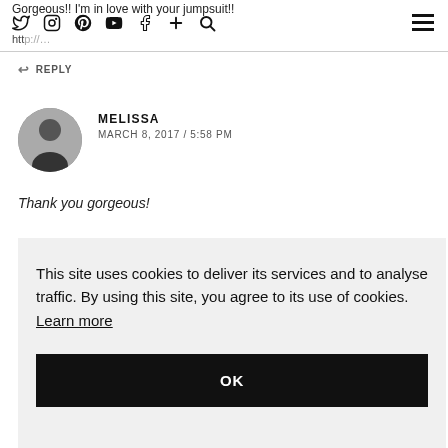Gorgeous!! I'm in love with your jumpsuit!
REPLY
MELISSA
MARCH 8, 2017 / 5:58 PM
Thank you gorgeous!
This site uses cookies to deliver its services and to analyse traffic. By using this site, you agree to its use of cookies. Learn more
OK